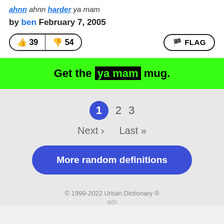ahnn ahnn harder ya mam
by ben February 7, 2005
👍 39  👎 54  🏳 FLAG
Get the ya mam mug.
1  2  3  Next › Last »
More random definitions
© 1999-2022 Urban Dictionary ®
ads